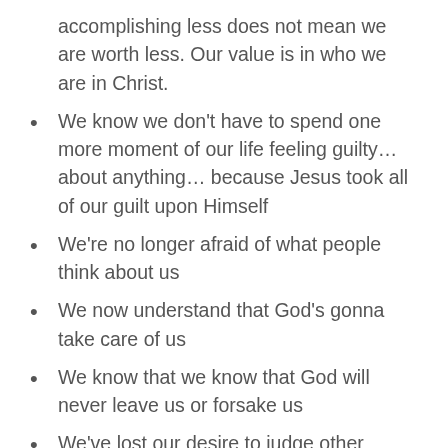accomplishing less does not mean we are worth less. Our value is in who we are in Christ.
We know we don't have to spend one more moment of our life feeling guilty... about anything... because Jesus took all of our guilt upon Himself
We're no longer afraid of what people think about us
We now understand that God's gonna take care of us
We know that we know that God will never leave us or forsake us
We've lost our desire to judge other people now because we're so blown away by God's great grace that's been extended to us that we want to extend it to others